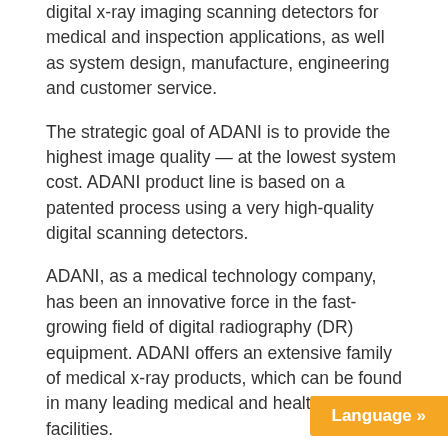digital x-ray imaging scanning detectors for medical and inspection applications, as well as system design, manufacture, engineering and customer service.
The strategic goal of ADANI is to provide the highest image quality — at the lowest system cost. ADANI product line is based on a patented process using a very high-quality digital scanning detectors.
ADANI, as a medical technology company, has been an innovative force in the fast-growing field of digital radiography (DR) equipment. ADANI offers an extensive family of medical x-ray products, which can be found in many leading medical and healthcare facilities.
ADANI, as a security technology company, offers complex technical solutions that ensure security and have created an entire spectrum of spe...